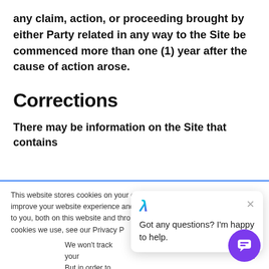any claim, action, or proceeding brought by either Party related in any way to the Site be commenced more than one (1) year after the cause of action arose.
Corrections
There may be information on the Site that contains
This website stores cookies on your computer. These cookies are used to improve your website experience and provide more personalized services to you, both on this website and through other media. To find out more about the cookies we use, see our Privacy Policy.
We won't track your information when you visit our site. But in order to comply with your preferences, we'll have to use just one tiny cookie so that you're not asked to make this choice again.
Accept
Decline
[Figure (screenshot): Chat popup with lambda logo and message: Got any questions? I'm happy to help.]